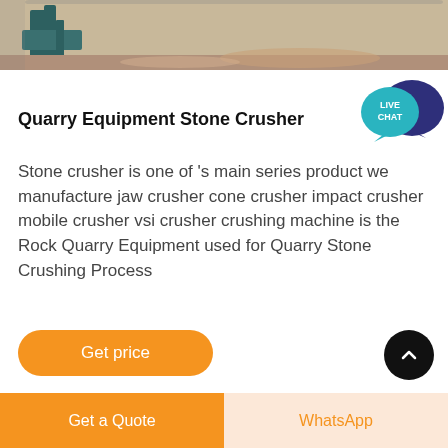[Figure (photo): Partial view of quarry equipment/stone crusher machinery with sandy ground in background]
[Figure (other): Live Chat speech bubble icon - teal and dark blue overlapping circles with LIVE CHAT text]
Quarry Equipment Stone Crusher
Stone crusher is one of 's main series product we manufacture jaw crusher cone crusher impact crusher mobile crusher vsi crusher crushing machine is the Rock Quarry Equipment used for Quarry Stone Crushing Process
Get price
Get a Quote | WhatsApp